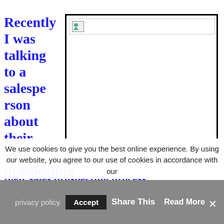Recently I was talking to a salesperson about their sales prospecting process.
[Figure (photo): Broken/unloaded image placeholder with a thin horizontal bar at top containing a broken image icon]
One of the questions the person asked me was how many people should he be trying to
We use cookies to give you the best online experience. By using our website, you agree to our use of cookies in accordance with our
privacy policy. Accept  Share This  Read More  ×